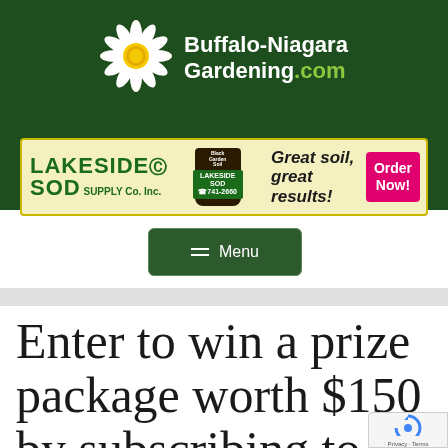[Figure (logo): Buffalo-Niagara Gardening.com logo with daisy flower icon on dark green background]
[Figure (infographic): Lakeside SOD Supply Co. Inc. advertisement banner - Great soil, great results! Order Now! 741-2660]
≡ Menu
Enter to win a prize package worth $150 by subscribing to Buffalo NiagaraGardening.c…